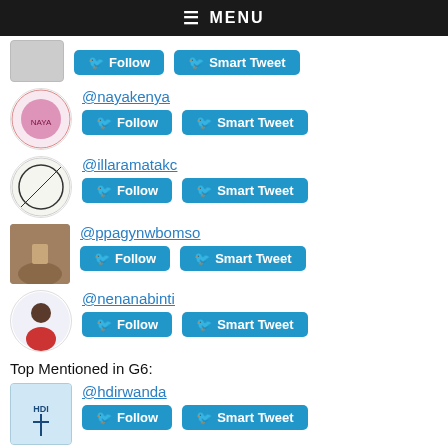≡ MENU
[Figure (screenshot): Twitter Follow and Smart Tweet buttons for an account (cropped, handle not visible)]
@nayakenya
[Figure (screenshot): Follow and Smart Tweet buttons for @nayakenya]
@illaramatakc
[Figure (screenshot): Follow and Smart Tweet buttons for @illaramatakc]
@ppagynwbomso
[Figure (screenshot): Follow and Smart Tweet buttons for @ppagynwbomso]
@nenanabinti
[Figure (screenshot): Follow and Smart Tweet buttons for @nenanabinti]
Top Mentioned in G6:
@hdirwanda
[Figure (screenshot): Follow and Smart Tweet buttons for @hdirwanda]
@rhuganda
[Figure (screenshot): Follow and Smart Tweet buttons for @rhuganda]
@rwandangoforum